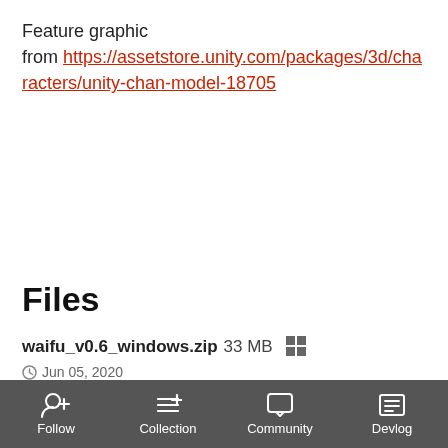Feature graphic from https://assetstore.unity.com/packages/3d/characters/unity-chan-model-18705
Files
waifu_v0.6_windows.zip  33 MB  [Windows icon]  Jun 05, 2020
waifu_v0.6_mac.zip  33 MB  [Apple icon]  Jun 05, 2020
Follow  Collection  Community  Devlog